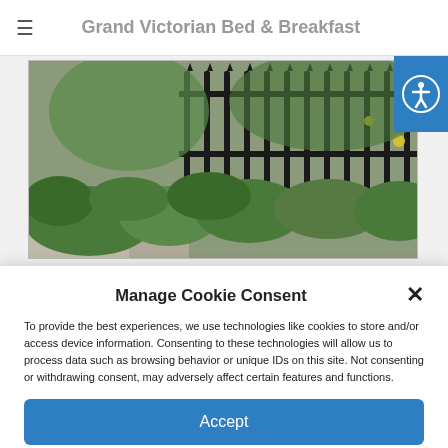Grand Victorian Bed & Breakfast
[Figure (photo): Outdoor garden photo showing iron fence, green shrubs, pathway]
Manage Cookie Consent
To provide the best experiences, we use technologies like cookies to store and/or access device information. Consenting to these technologies will allow us to process data such as browsing behavior or unique IDs on this site. Not consenting or withdrawing consent, may adversely affect certain features and functions.
Accept
Cookie Policy  Privacy Statement